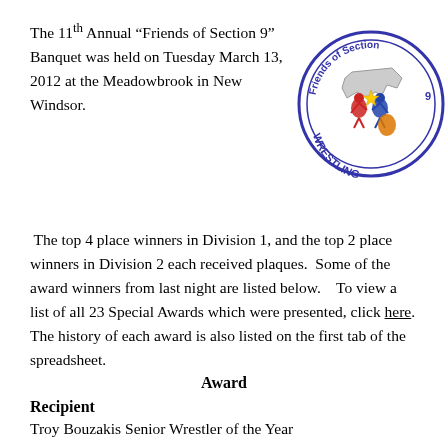The 11th Annual “Friends of Section 9” Banquet was held on Tuesday March 13, 2012 at the Meadowbrook in New Windsor.
[Figure (logo): Friends of Section 9 Wrestling circular logo with wrestlers and state map in center, blue border with text around it]
The top 4 place winners in Division 1, and the top 2 place winners in Division 2 each received plaques.  Some of the award winners from last night are listed below.   To view a list of all 23 Special Awards which were presented, click here. The history of each award is also listed on the first tab of the spreadsheet.
Award
Recipient
Troy Bouzakis Senior Wrestler of the Year